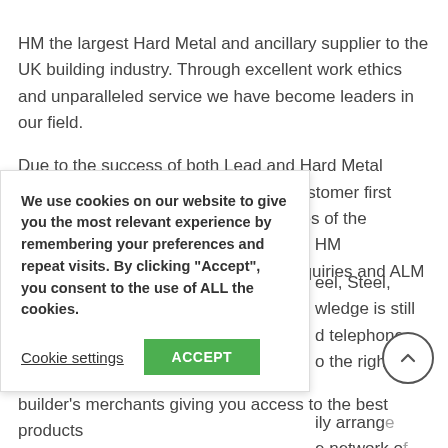HM the largest Hard Metal and ancillary supplier to the UK building industry. Through excellent work ethics and unparalleled service we have become leaders in our field.
Due to the success of both Lead and Hard Metal Sales and to ensure continuation of customer first service, ALM has now defined two sides of the business as ALM 01992444100 & ALM HM 01992801927. ALM covers all lead enquiries and ALM HM (Hard Metals) covers multi
eel, Steel, wledge is still d telephone o the right
We use cookies on our website to give you the most relevant experience by remembering your preferences and repeat visits. By clicking "Accept", you consent to the use of ALL the cookies.
Cookie settings
ACCEPT
ily arrange e network o
builder's merchants giving you access to the best products